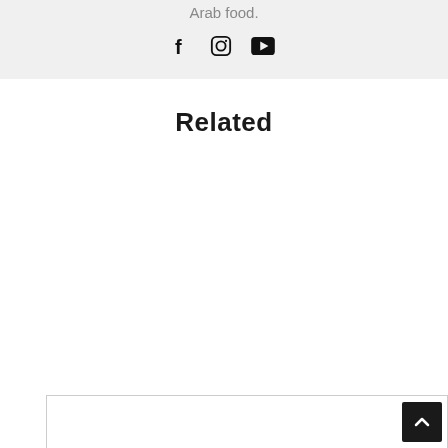Arab food.
[Figure (infographic): Social media icons: Facebook (f), Instagram (camera), YouTube (play button)]
Related
[Figure (other): Scroll to top button with upward chevron arrow]